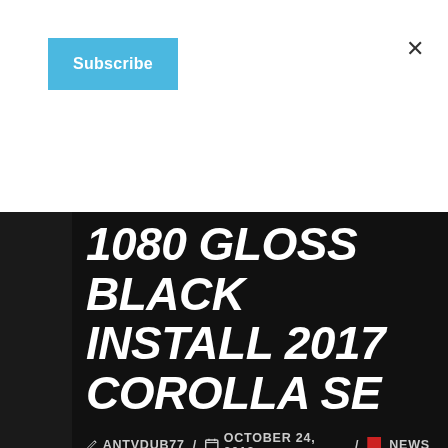[Figure (other): Blue Subscribe button on white background with an X close button in the top right corner]
1080 GLOSS BLACK INSTALL 2017 COROLLA SE
✏ ANTVDUB77 / 📅 OCTOBER 24, 2018 / 🔖 NEWS
Roof wrap 3M 1080 Gloss black Install 2017 Corolla SE I used 3M wrap for the Roof wrap because it will last 5-7 Years. It is very easy to install but take your time especially if you have a roof antenna and on the edges. there are many colors options for the roof wrap like Carbon fiber,